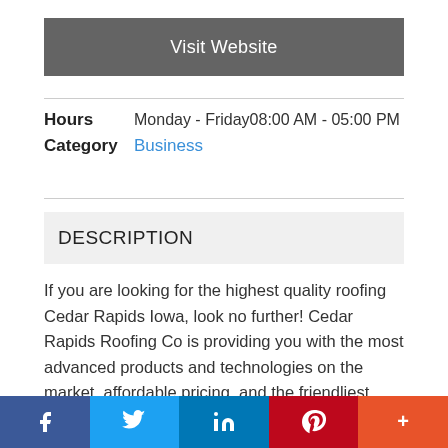Visit Website
Hours   Monday - Friday08:00 AM - 05:00 PM
Category   Business
DESCRIPTION
If you are looking for the highest quality roofing Cedar Rapids Iowa, look no further! Cedar Rapids Roofing Co is providing you with the most advanced products and technologies on the market, affordable pricing, and the friendliest
f  Twitter  in  P  +